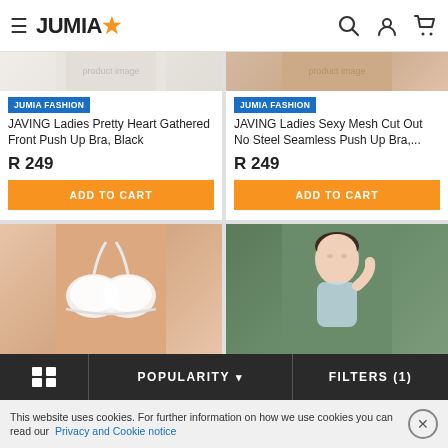JUMIA★ (navigation header with search, account, cart icons)
[Figure (screenshot): JUMIA e-commerce product listing page showing two product cards in top row: 'JAVING Ladies Pretty Heart Gathered Front Push Up Bra, Black R 249' and 'JAVING Ladies Sexy Mesh Cut Out No Steel Seamless Push Up Bra,... R 249', each with ADD TO CART button. Bottom row shows two more product images (white bra on peach background, model on green background).]
JUMIA FASHION
JAVING Ladies Pretty Heart Gathered Front Push Up Bra, Black
R 249
ADD TO CART
JUMIA FASHION
JAVING Ladies Sexy Mesh Cut Out No Steel Seamless Push Up Bra,...
R 249
ADD TO CART
POPULARITY ▾   FILTERS (1)
This website uses cookies. For further information on how we use cookies you can read our Privacy and Cookie notice